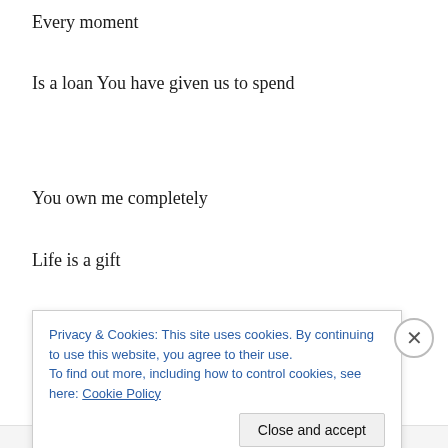Every moment
Is a loan You have given us to spend
You own me completely
Life is a gift
Yet You have given me the freedom of what I do
Privacy & Cookies: This site uses cookies. By continuing to use this website, you agree to their use.
To find out more, including how to control cookies, see here: Cookie Policy
Close and accept